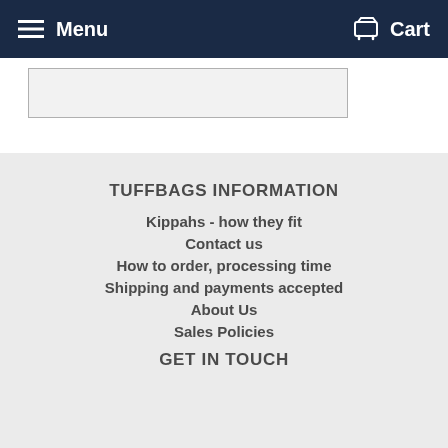Menu  Cart
TUFFBAGS INFORMATION
Kippahs - how they fit
Contact us
How to order, processing time
Shipping and payments accepted
About Us
Sales Policies
GET IN TOUCH